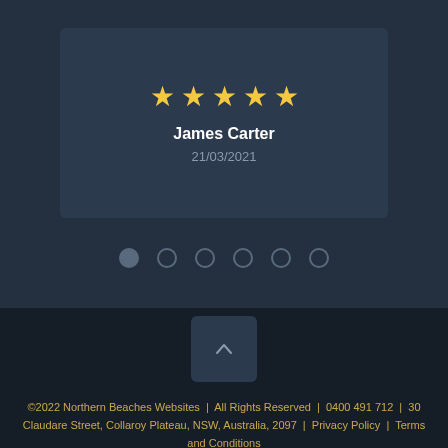[Figure (other): Review card with 5 gold stars, reviewer name James Carter, date 21/03/2021]
[Figure (other): Carousel navigation dots — 6 circles, first one filled/active]
[Figure (other): Back to top button with upward chevron arrow]
©2022 Northern Beaches Websites | All Rights Reserved | 0400 491 712 | 30 Claudare Street, Collaroy Plateau, NSW, Australia, 2097 | Privacy Policy | Terms and Conditions